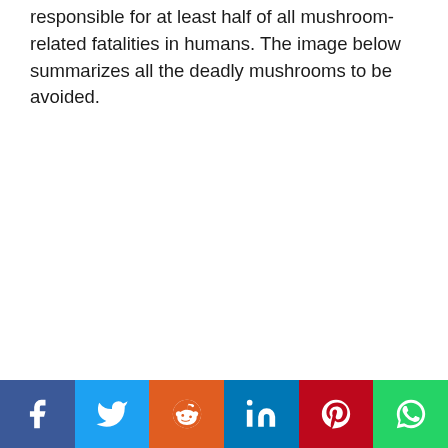responsible for at least half of all mushroom-related fatalities in humans. The image below summarizes all the deadly mushrooms to be avoided.
[Figure (other): Social media sharing bar with icons for Facebook, Twitter, Reddit, LinkedIn, Pinterest, and WhatsApp]